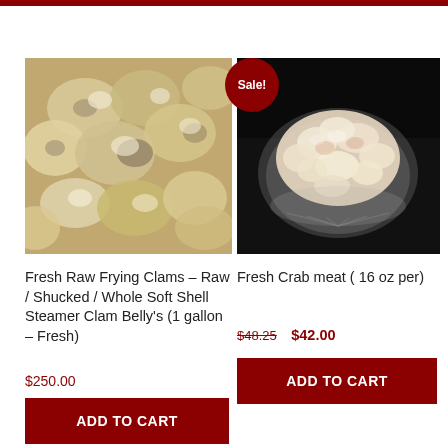[Figure (photo): Close-up photo of fresh raw shucked clams, beige and tan colored soft shellfish]
[Figure (photo): Photo of fresh crab meat piled on a shell-shaped plate against a dark background, with a red Sale badge overlay]
Fresh Raw Frying Clams – Raw / Shucked / Whole Soft Shell Steamer Clam Belly's (1 gallon – Fresh)
$250.00
ADD TO CART
Fresh Crab meat ( 16 oz per)
$48.25  $42.00
ADD TO CART